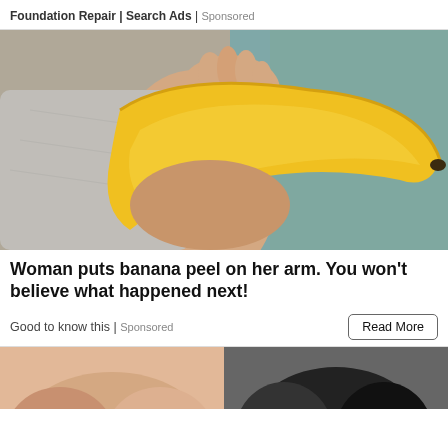Foundation Repair | Search Ads | Sponsored
[Figure (photo): A person in a gray tank top rubbing a yellow banana peel on their arm, against a teal/blue-gray background.]
Woman puts banana peel on her arm. You won't believe what happened next!
Good to know this | Sponsored
[Figure (photo): Bottom partial images: left shows a skin-toned torso area (peach/beige tones), right shows a dark/black rounded shape, both cropped off at the bottom of the page.]